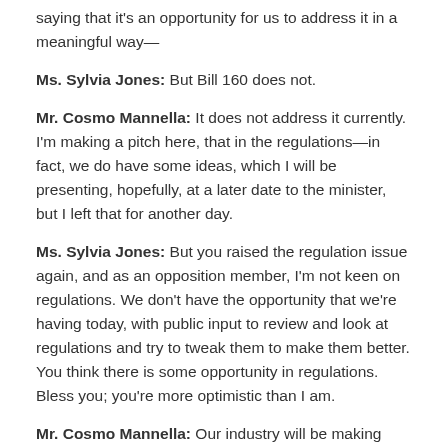saying that it's an opportunity for us to address it in a meaningful way—
Ms. Sylvia Jones: But Bill 160 does not.
Mr. Cosmo Mannella: It does not address it currently. I'm making a pitch here, that in the regulations—in fact, we do have some ideas, which I will be presenting, hopefully, at a later date to the minister, but I left that for another day.
Ms. Sylvia Jones: But you raised the regulation issue again, and as an opposition member, I'm not keen on regulations. We don't have the opportunity that we're having today, with public input to review and look at regulations and try to tweak them to make them better. You think there is some opportunity in regulations. Bless you; you're more optimistic than I am.
Mr. Cosmo Mannella: Our industry will be making some very strong proposals around the underground economy, because our industry is one of the industries that is the